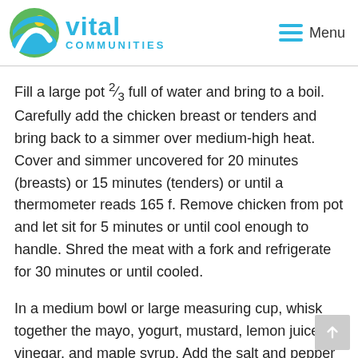vital communities — Menu
Fill a large pot ⅔ full of water and bring to a boil. Carefully add the chicken breast or tenders and bring back to a simmer over medium-high heat. Cover and simmer uncovered for 20 minutes (breasts) or 15 minutes (tenders) or until a thermometer reads 165 f. Remove chicken from pot and let sit for 5 minutes or until cool enough to handle. Shred the meat with a fork and refrigerate for 30 minutes or until cooled.
In a medium bowl or large measuring cup, whisk together the mayo, yogurt, mustard, lemon juice, vinegar, and maple syrup. Add the salt and pepper to taste.